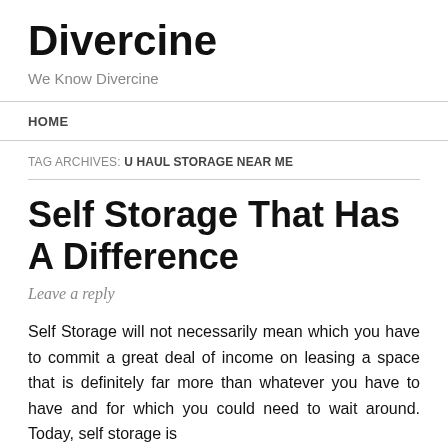Divercine
We Know Divercine
HOME
TAG ARCHIVES: U HAUL STORAGE NEAR ME
Self Storage That Has A Difference
Leave a reply
Self Storage will not necessarily mean which you have to commit a great deal of income on leasing a space that is definitely far more than whatever you have to have and for which you could need to wait around. Today, self storage is